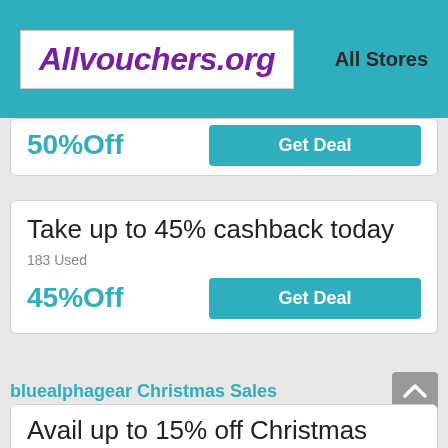Allvouchers.org  All Stores
50%Off
Get Deal
Take up to 45% cashback today
183 Used
45%Off
Get Deal
bluealphagear Christmas Sales
Avail up to 15% off Christmas
155 Used